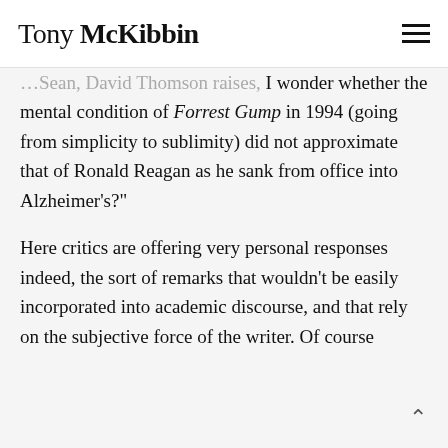Tony McKibbin
…Sean, David Thomson raises, I wonder whether the mental condition of Forrest Gump in 1994 (going from simplicity to sublimity) did not approximate that of Ronald Reagan as he sank from office into Alzheimer's?"
Here critics are offering very personal responses indeed, the sort of remarks that wouldn't be easily incorporated into academic discourse, and that rely on the subjective force of the writer. Of course